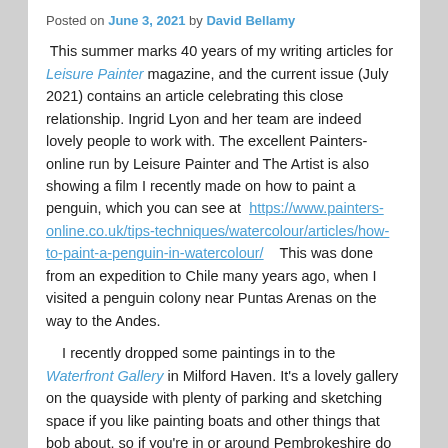Posted on June 3, 2021 by David Bellamy
This summer marks 40 years of my writing articles for Leisure Painter magazine, and the current issue (July 2021) contains an article celebrating this close relationship. Ingrid Lyon and her team are indeed lovely people to work with. The excellent Painters-online run by Leisure Painter and The Artist is also showing a film I recently made on how to paint a penguin, which you can see at https://www.painters-online.co.uk/tips-techniques/watercolour/articles/how-to-paint-a-penguin-in-watercolour/    This was done from an expedition to Chile many years ago, when I visited a penguin colony near Puntas Arenas on the way to the Andes.
I recently dropped some paintings in to the Waterfront Gallery in Milford Haven. It's a lovely gallery on the quayside with plenty of parking and sketching space if you like painting boats and other things that bob about, so if you're in or around Pembrokeshire do pop in if you have a moment.